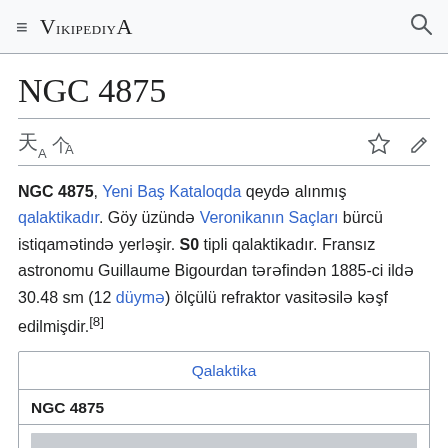VikipediyA
NGC 4875
NGC 4875, Yeni Baş Kataloqda qeydə alınmış qalaktikadır. Göy üzündə Veronikanın Saçları bürcü istiqamətində yerləşir. S0 tipli qalaktikadır. Fransız astronomu Guillaume Bigourdan tərəfindən 1885-ci ildə 30.48 sm (12 düymə) ölçülü refraktor vasitəsilə kəşf edilmişdir.[8]
| Qalaktika |
| --- |
| NGC 4875 |